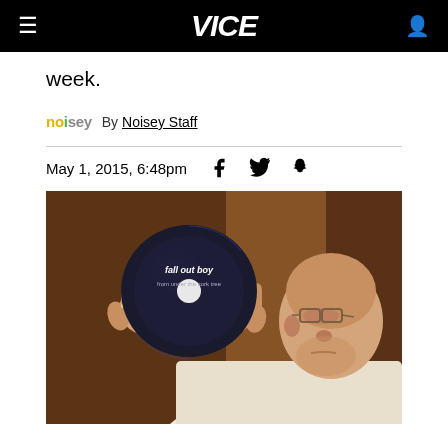VICE
week.
noisey  By Noisey Staff
May 1, 2015, 6:48pm
[Figure (photo): Pope Francis holding up a Fall Out Boy CD like a communion wafer during a mass ceremony]